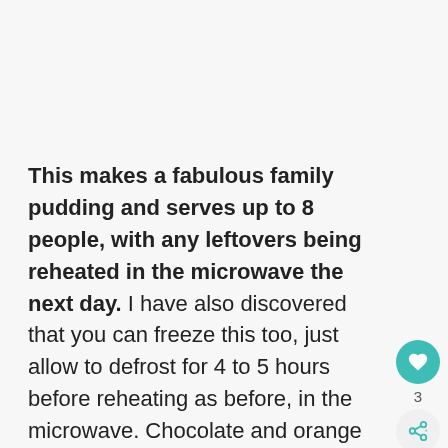This makes a fabulous family pudding and serves up to 8 people, with any leftovers being reheated in the microwave the next day. I have also discovered that you can freeze this too, just allow to defrost for 4 to 5 hours before reheating as before, in the microwave. Chocolate and orange make perfect partners in cooking and baking, as